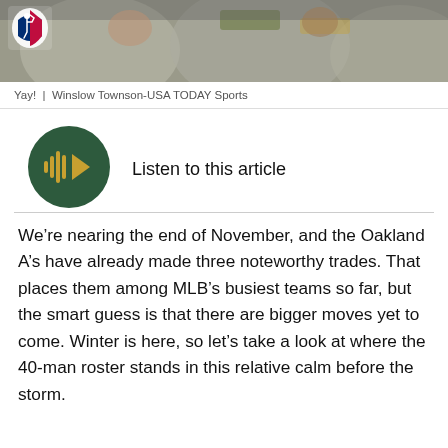[Figure (photo): Sports photo of Oakland A's baseball players in gray uniforms with green/yellow lettering, cropped to show upper body/dugout area. MLB logo visible in top left corner.]
Yay!  |  Winslow Townson-USA TODAY Sports
[Figure (other): Dark green circular play button with audio waveform and play triangle icon in gold/yellow color, used for audio article listening feature.]
Listen to this article
We’re nearing the end of November, and the Oakland A’s have already made three noteworthy trades. That places them among MLB’s busiest teams so far, but the smart guess is that there are bigger moves yet to come. Winter is here, so let’s take a look at where the 40-man roster stands in this relative calm before the storm.